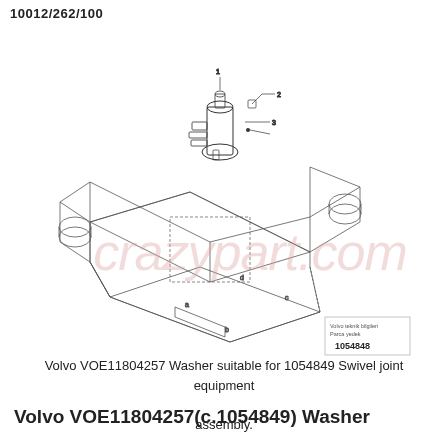10012/262/100
[Figure (engineering-diagram): Isometric technical drawing of a Volvo swivel joint assembly (part 1054849) showing the swivel joint component mounted on an undercarriage/chassis frame. Callout lines point to numbered parts (1, 2, 3). A small legend box in the lower right reads 'Volvo teknik bilgileri / Parca yedek / 1054849'.]
Volvo VOE11804257 Washer suitable for 1054849 Swivel joint equipment assembly.
Volvo VOE11804257(c.1054849) Washer